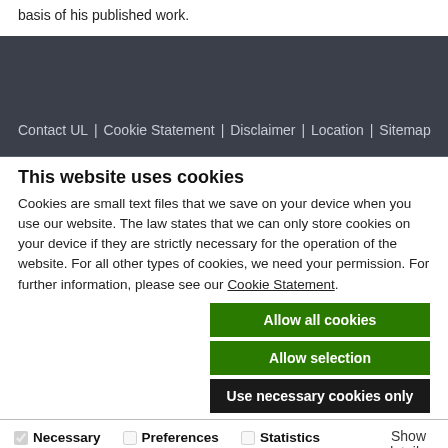basis of his published work.
Contact UL | Cookie Statement | Disclaimer | Location | Sitemap
This website uses cookies
Cookies are small text files that we save on your device when you use our website. The law states that we can only store cookies on your device if they are strictly necessary for the operation of the website. For all other types of cookies, we need your permission. For further information, please see our Cookie Statement.
Allow all cookies
Allow selection
Use necessary cookies only
Necessary  Preferences  Statistics  Marketing  Show details